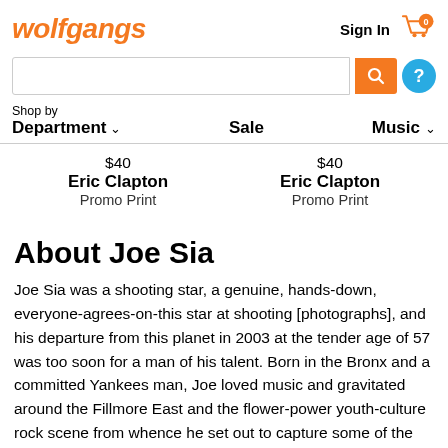wolfgang's
Sign In
$40 Eric Clapton Promo Print | $40 Eric Clapton Promo Print
About Joe Sia
Joe Sia was a shooting star, a genuine, hands-down, everyone-agrees-on-this star at shooting [photographs], and his departure from this planet in 2003 at the tender age of 57 was too soon for a man of his talent. Born in the Bronx and a committed Yankees man, Joe loved music and gravitated around the Fillmore East and the flower-power youth-culture rock scene from whence he set out to capture some of the most incredible sounds of the last